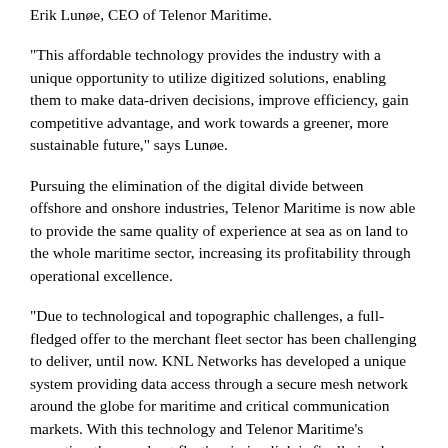Erik Lunøe, CEO of Telenor Maritime.
“This affordable technology provides the industry with a unique opportunity to utilize digitized solutions, enabling them to make data-driven decisions, improve efficiency, gain competitive advantage, and work towards a greener, more sustainable future,” says Lunøe.
Pursuing the elimination of the digital divide between offshore and onshore industries, Telenor Maritime is now able to provide the same quality of experience at sea as on land to the whole maritime sector, increasing its profitability through operational excellence.
“Due to technological and topographic challenges, a full-fledged offer to the merchant fleet sector has been challenging to deliver, until now. KNL Networks has developed a unique system providing data access through a secure mesh network around the globe for maritime and critical communication markets. With this technology and Telenor Maritime’s expertise, the merchant fleet’s missing link is finally in place: a dedicated end-to-end channel for reliable, secure, and above all